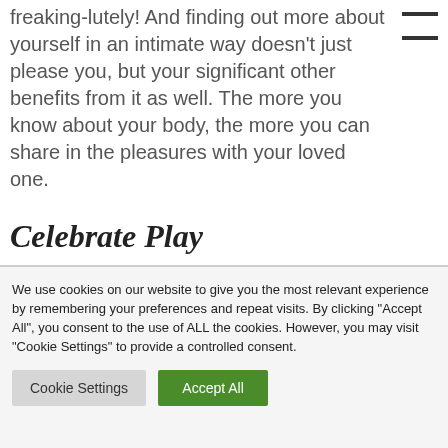freaking-lutely! And finding out more about yourself in an intimate way doesn't just please you, but your significant other benefits from it as well. The more you know about your body, the more you can share in the pleasures with your loved one.
Celebrate Play
We use cookies on our website to give you the most relevant experience by remembering your preferences and repeat visits. By clicking "Accept All", you consent to the use of ALL the cookies. However, you may visit "Cookie Settings" to provide a controlled consent.